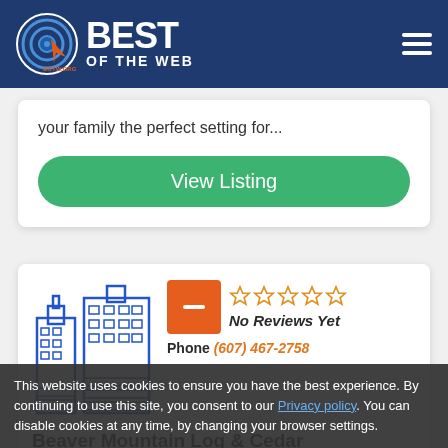[Figure (logo): Best of the Web (BOTW.org) logo — circular target icon with orange cursor arrow, white text 'BEST OF THE WEB' on dark blue background]
your family the perfect setting for...
View Listing
[Figure (illustration): Blue line-drawing illustration of city buildings / skyscrapers]
[Figure (other): Orange square box with white horizontal dash (minus sign) — listing placeholder thumbnail]
No Reviews Yet
Phone (607) 467-2758
Beaver Mountain Log & Cedar
1740 County Highway 48
Deposit, NY 13754
This website uses cookies to ensure you have the best experience. By continuing to use this site, you consent to our Privacy policy. You can disable cookies at any time, by changing your browser settings.